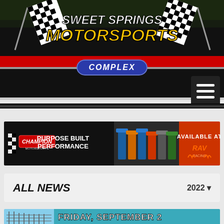[Figure (logo): Sweet Springs Motorsports Complex logo with checkered flags on dark background with red stripe]
[Figure (screenshot): Hamburger menu button (three horizontal lines) in dark square, top right]
[Figure (illustration): Champion oil - Purpose Built Performance advertisement banner with oil bottles and Available At branding on orange background]
ALL NEWS
2022
[Figure (photo): Race track photo with FRIDAY, SEPTEMBER 2 text overlay on teal background]